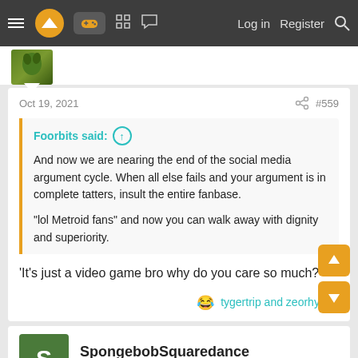Navigation bar with menu, logo, gamepad icon, grid icon, chat icon, Log in, Register, Search
[Figure (screenshot): User avatar image - green colored avatar at top]
Oct 19, 2021  #559
Foorbits said: ↑

And now we are nearing the end of the social media argument cycle. When all else fails and your argument is in complete tatters, insult the entire fanbase.

"lol Metroid fans" and now you can walk away with dignity and superiority.
'It's just a video game bro why do you care so much?'
😂 tygertrip and zeorhymer
SpongebobSquaredance
Unconfirmed Member